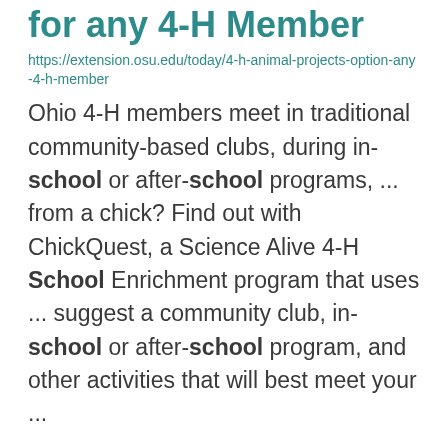for any 4-H Member
https://extension.osu.edu/today/4-h-animal-projects-option-any-4-h-member
Ohio 4-H members meet in traditional community-based clubs, during in-school or after-school programs, ... from a chick? Find out with ChickQuest, a Science Alive 4-H School Enrichment program that uses ... suggest a community club, in-school or after-school program, and other activities that will best meet your ...
4-H Projects go to Fair
https://extension.osu.edu/today/4-h-projects-go-fair